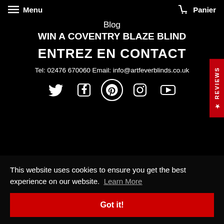Menu   Panier
Blog
WIN A COVENTRY BLAZE BLIND
ENTREZ EN CONTACT
Tel: 02476 670060 Email: info@artfeverblinds.co.uk
[Figure (other): Social media icons: Twitter, Facebook, Pinterest, Instagram, YouTube]
REVIEWS
This website uses cookies to ensure you get the best experience on our website. Learn More
Got it!